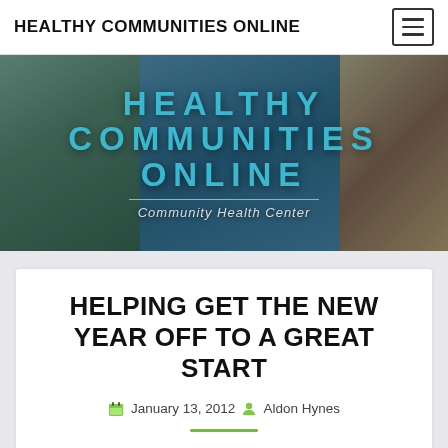HEALTHY COMMUNITIES ONLINE
[Figure (photo): Hero banner with photos of healthcare workers and community members, overlaid with large teal text 'HEALTHY COMMUNITIES ONLINE' and subtitle 'Community Health Center']
HELPING GET THE NEW YEAR OFF TO A GREAT START
January 13, 2012  Aldon Hynes